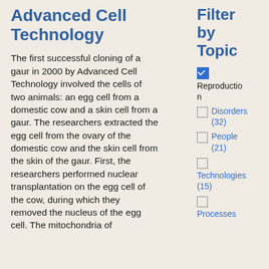Advanced Cell Technology
The first successful cloning of a gaur in 2000 by Advanced Cell Technology involved the cells of two animals: an egg cell from a domestic cow and a skin cell from a gaur. The researchers extracted the egg cell from the ovary of the domestic cow and the skin cell from the skin of the gaur. First, the researchers performed nuclear transplantation on the egg cell of the cow, during which they removed the nucleus of the egg cell. The mitochondria of
Filter by Topic
Reproduction (checked)
Disorders (32)
People (21)
Technologies (15)
Processes